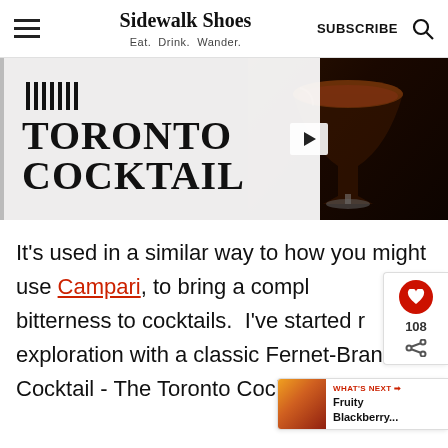Sidewalk Shoes Eat. Drink. Wander. SUBSCRIBE
[Figure (photo): Toronto Cocktail article header image with text overlay reading TORONTO COCKTAIL on white background and a cocktail glass photo on the right side with dark background]
It's used in a similar way to how you might use Campari, to bring a complex bitterness to cocktails. I've started my exploration with a classic Fernet-Branca Cocktail - The Toronto Cocktail.